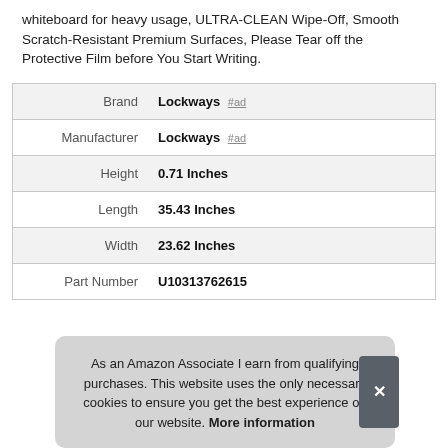whiteboard for heavy usage, ULTRA-CLEAN Wipe-Off, Smooth Scratch-Resistant Premium Surfaces, Please Tear off the Protective Film before You Start Writing.
|  |  |
| --- | --- |
| Brand | Lockways #ad |
| Manufacturer | Lockways #ad |
| Height | 0.71 Inches |
| Length | 35.43 Inches |
| Width | 23.62 Inches |
| Part Number | U10313762615 |
As an Amazon Associate I earn from qualifying purchases. This website uses the only necessary cookies to ensure you get the best experience on our website. More information